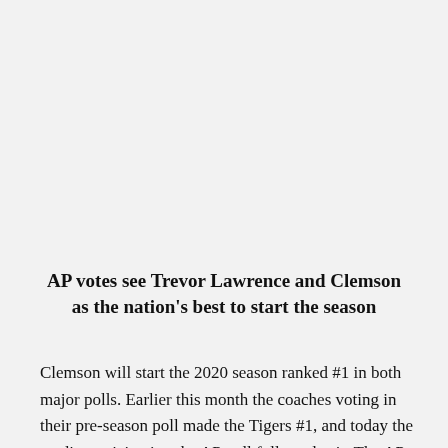AP votes see Trevor Lawrence and Clemson as the nation's best to start the season
Clemson will start the 2020 season ranked #1 in both major polls. Earlier this month the coaches voting in their pre-season poll made the Tigers #1, and today the media participating the AP poll followed suit. The AP directed its voters to include all teams in the